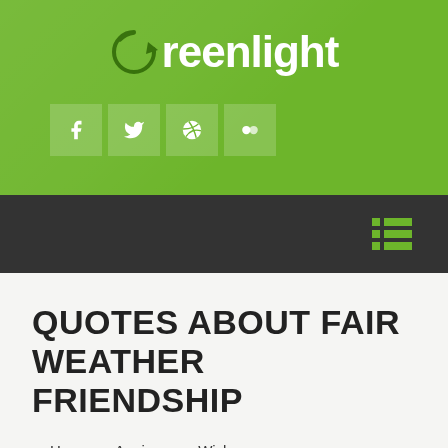[Figure (logo): Greenlight website logo with green circular arrow icon and white text on green background with social media icons (Facebook, Twitter, Dribbble, Flickr)]
[Figure (screenshot): Dark navigation bar with green list/hamburger menu icon on the right]
QUOTES ABOUT FAIR WEATHER FRIENDSHIP
Home » Anniversary Wishes »
Quotes About Fair Weather Friendship